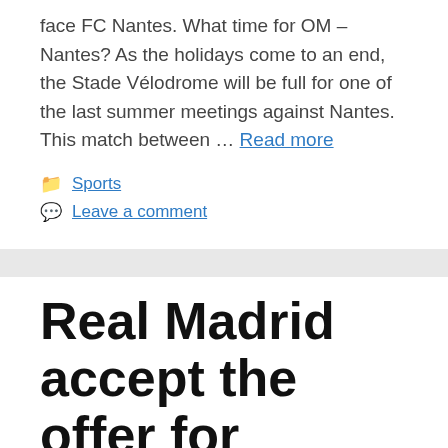face FC Nantes. What time for OM – Nantes? As the holidays come to an end, the Stade Vélodrome will be full for one of the last summer meetings against Nantes. This match between … Read more
Sports
Leave a comment
Real Madrid accept the offer for Casemiro, the amount is known!